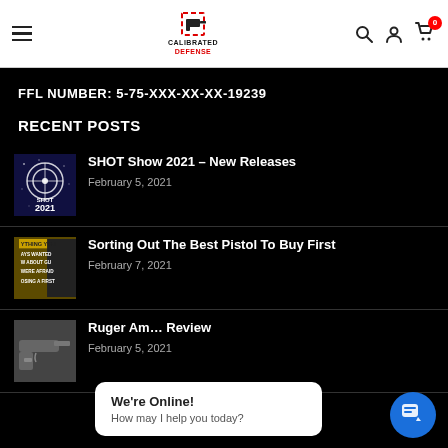Calibrated Defense — navigation header with logo, search, account, and cart icons
FFL NUMBER: 5-75-XXX-XX-XX-19239
RECENT POSTS
[Figure (photo): SHOT Show 2021 logo thumbnail — dark blue background with circular target logo]
SHOT Show 2021 – New Releases
February 5, 2021
[Figure (photo): Book cover thumbnail — yellow and dark background with text about guns]
Sorting Out The Best Pistol To Buy First
February 7, 2021
[Figure (photo): Ruger pistol photo thumbnail — dark background]
Ruger Am… Review
February 5, 2021